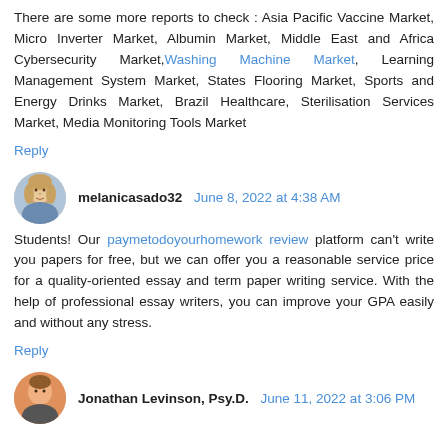There are some more reports to check : Asia Pacific Vaccine Market, Micro Inverter Market, Albumin Market, Middle East and Africa Cybersecurity Market, Washing Machine Market, Learning Management System Market, States Flooring Market, Sports and Energy Drinks Market, Brazil Healthcare, Sterilisation Services Market, Media Monitoring Tools Market
Reply
melanicasado32  June 8, 2022 at 4:38 AM
Students! Our paymetodoyourhomework review platform can't write you papers for free, but we can offer you a reasonable service price for a quality-oriented essay and term paper writing service. With the help of professional essay writers, you can improve your GPA easily and without any stress.
Reply
Jonathan Levinson, Psy.D.  June 11, 2022 at 3:06 PM